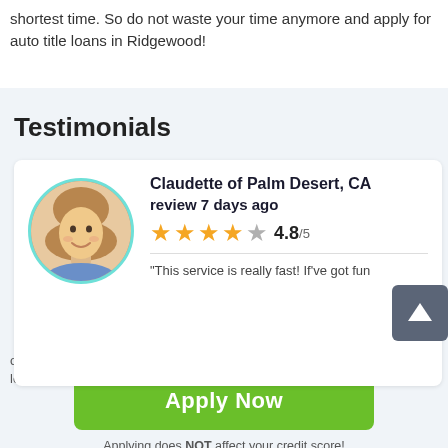shortest time. So do not waste your time anymore and apply for auto title loans in Ridgewood!
Testimonials
[Figure (photo): Circular profile photo of a smiling woman with light brown hair, bordered with teal/turquoise circle outline]
Claudette of Palm Desert, CA review 7 days ago
4.8/5 (4 filled stars, 1 empty star)
“This service is really fast! If’ve got fun on the card without moving away from my laptop. Frankly speaking, the loan’s cost hurts the wallet, but it’s not crucial
Apply Now
Applying does NOT affect your credit score!
No credit check to apply.